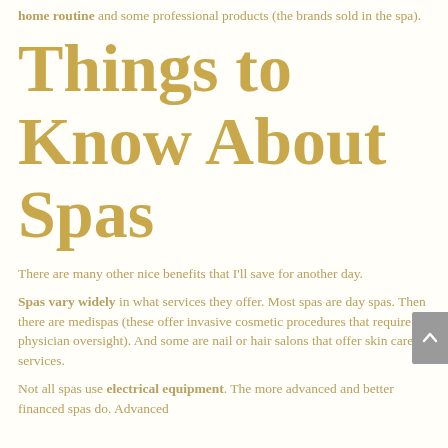home routine and some professional products (the brands sold in the spa).
Things to Know About Spas
There are many other nice benefits that I'll save for another day.
Spas vary widely in what services they offer. Most spas are day spas. Then there are medispas (these offer invasive cosmetic procedures that require physician oversight). And some are nail or hair salons that offer skin care services.
Not all spas use electrical equipment. The more advanced and better financed spas do. Advanced